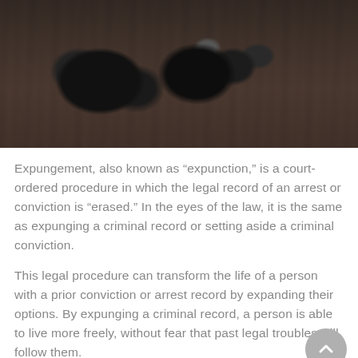[Figure (photo): Handcuffs lying on a dark wooden surface, photographed from above. The handcuffs are metallic and one bracelet is open.]
Expungement, also known as "expunction," is a court-ordered procedure in which the legal record of an arrest or conviction is "erased." In the eyes of the law, it is the same as expunging a criminal record or setting aside a criminal conviction.
This legal procedure can transform the life of a person with a prior conviction or arrest record by expanding their options. By expunging a criminal record, a person is able to live more freely, without fear that past legal troubles will follow them.